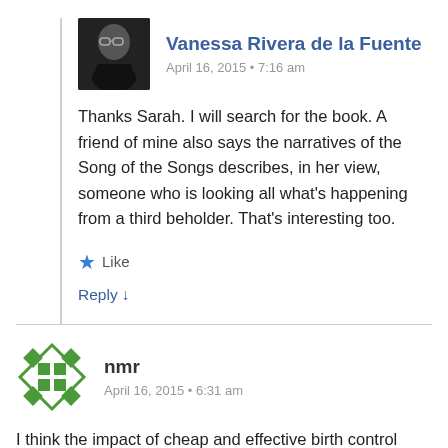Vanessa Rivera de la Fuente
April 16, 2015 • 7:16 am
Thanks Sarah. I will search for the book. A friend of mine also says the narratives of the Song of the Songs describes, in her view, someone who is looking all what's happening from a third beholder. That's interesting too.
Like
Reply ↓
[Figure (photo): Avatar photo of Vanessa Rivera de la Fuente — person with glasses]
[Figure (illustration): Green geometric avatar icon for nmr — grid/snowflake pattern]
nmr
April 16, 2015 • 6:31 am
I think the impact of cheap and effective birth control should not be underestimated for the ability of women to control their own bodies. These methodologies were simply not available at the time of most religions, and the old religions